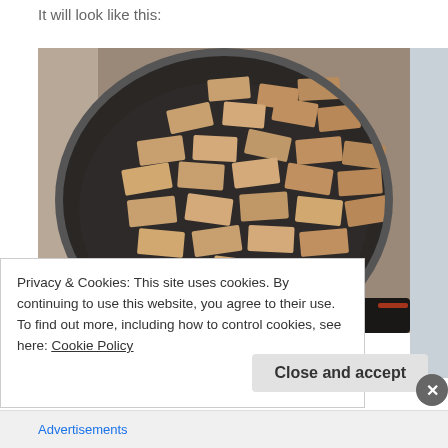It will look like this:
[Figure (photo): Photo of tofu pieces simmering in a dark non-stick skillet/pan, viewed from above. Many rectangular tofu pieces are arranged in the pan with liquid/water visible around them.]
Privacy & Cookies: This site uses cookies. By continuing to use this website, you agree to their use.
To find out more, including how to control cookies, see here: Cookie Policy
Close and accept
Advertisements